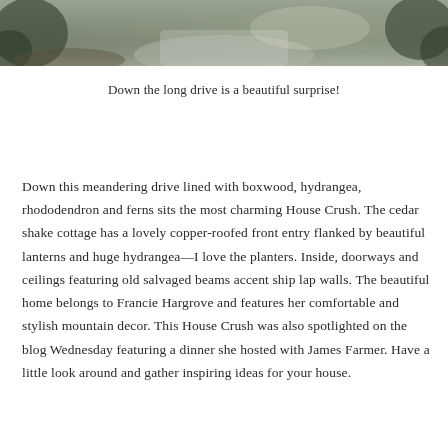[Figure (photo): Aerial or angled view of a long driveway lined with trees and mulch, showing a path leading toward a house in the background.]
Down the long drive is a beautiful surprise!
Down this meandering drive lined with boxwood, hydrangea, rhododendron and ferns sits the most charming House Crush. The cedar shake cottage has a lovely copper-roofed front entry flanked by beautiful lanterns and huge hydrangea—I love the planters. Inside, doorways and ceilings featuring old salvaged beams accent ship lap walls. The beautiful home belongs to Francie Hargrove and features her comfortable and stylish mountain decor. This House Crush was also spotlighted on the blog Wednesday featuring a dinner she hosted with James Farmer. Have a little look around and gather inspiring ideas for your house.